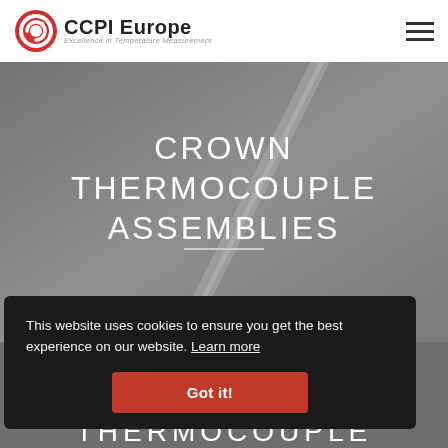CCPI Europe — Excellence in Temperature Measurement
CROWN THERMOCOUPLE ASSEMBLIES
[Figure (photo): Dark grey background with a diagonal thermocouple rod visible in the background]
This website uses cookies to ensure you get the best experience on our website. Learn more
Got it!
FOREHEARTH
THERMOCOUPLE